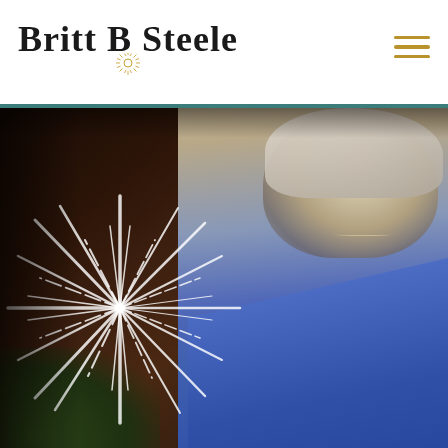Britt B Steele
[Figure (photo): Hero image of a smiling blonde woman in a blue top, with a decorative sunburst/starburst graphic overlay on the left side of the image. Background is dark brown/warm tones with green foliage hints at lower left.]